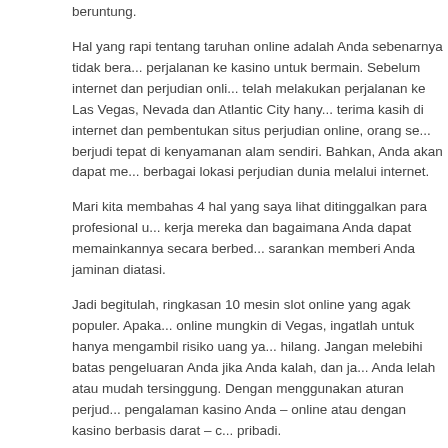beruntung.
Hal yang rapi tentang taruhan online adalah Anda sebenarnya tidak bera... perjalanan ke kasino untuk bermain. Sebelum internet dan perjudian onli... telah melakukan perjalanan ke Las Vegas, Nevada dan Atlantic City hany... terima kasih di internet dan pembentukan situs perjudian online, orang se... berjudi tepat di kenyamanan alam sendiri. Bahkan, Anda akan dapat me... berbagai lokasi perjudian dunia melalui internet.
Mari kita membahas 4 hal yang saya lihat ditinggalkan para profesional u... kerja mereka dan bagaimana Anda dapat memainkannya secara berbed... sarankan memberi Anda jaminan diatasi.
Jadi begitulah, ringkasan 10 mesin slot online yang agak populer. Apaka... online mungkin di Vegas, ingatlah untuk hanya mengambil risiko uang ya... hilang. Jangan melebihi batas pengeluaran Anda jika Anda kalah, dan ja... Anda lelah atau mudah tersinggung. Dengan menggunakan aturan perjud... pengalaman kasino Anda – online atau dengan kasino berbasis darat – c... pribadi.
Filed Under: Uncategorized
Which Currency Pairs A Person Trade?